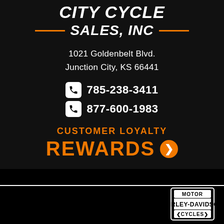CITY CYCLE SALES, INC
1021 Goldenbelt Blvd.
Junction City, KS 66441
785-238-3411
877-600-1983
CUSTOMER LOYALTY REWARDS
[Figure (logo): Harley-Davidson Motor Cycles logo badge]